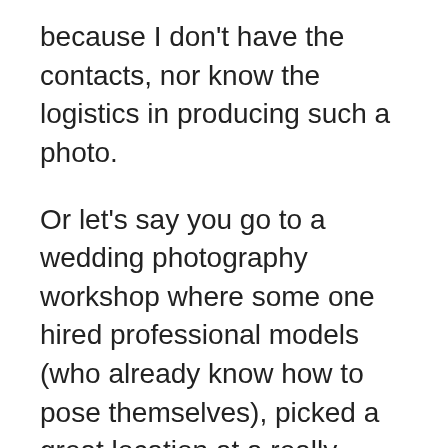because I don't have the contacts, nor know the logistics in producing such a photo.

Or let's say you go to a wedding photography workshop where some one hired professional models (who already know how to pose themselves), picked a great location at a really fancy hotel or church, and set up lighting for you to step in a take a photo that 20 other photographers are taking next to you. Is that representative of something you could produce? If some one hired this person to shoot their wedding, would they be able to reproduce photos like this? I guess only the photographer really knows if they could set up the lights, pose the